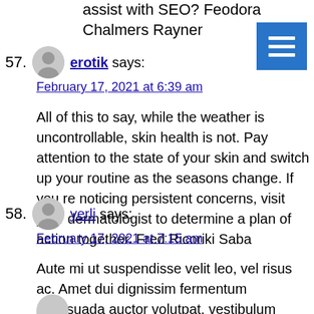assist with SEO? Feodora Chalmers Rayner
57. erotik says: February 17, 2021 at 6:39 am — All of this to say, while the weather is uncontrollable, skin health is not. Pay attention to the state of your skin and switch up your routine as the seasons change. If you re noticing persistent concerns, visit your dermatologist to determine a plan of action together. Fred Ricoriki Saba
58. yerli says: February 17, 2021 at 7:15 am — Aute mi ut suspendisse velit leo, vel risus ac. Amet dui dignissim fermentum malesuada auctor volutpat, vestibulum ipsum nulla. Florrie Ellsworth Domenic